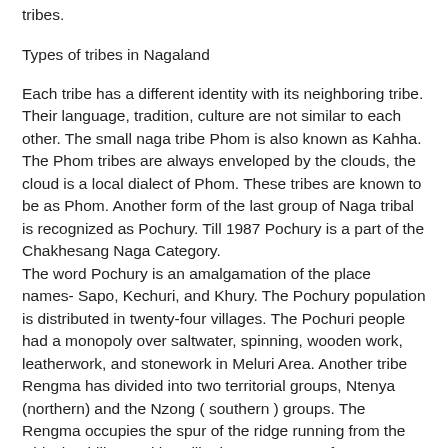tribes.
Types of tribes in Nagaland
Each tribe has a different identity with its neighboring tribe. Their language, tradition, culture are not similar to each other. The small naga tribe Phom is also known as Kahha. The Phom tribes are always enveloped by the clouds, the cloud is a local dialect of Phom. These tribes are known to be as Phom. Another form of the last group of Naga tribal is recognized as Pochury. Till 1987 Pochury is a part of the Chakhesang Naga Category. The word Pochury is an amalgamation of the place names- Sapo, Kechuri, and Khury. The Pochury population is distributed in twenty-four villages. The Pochuri people had a monopoly over saltwater, spinning, wooden work, leatherwork, and stonework in Meluri Area. Another tribe Rengma has divided into two territorial groups, Ntenya (northern) and the Nzong ( southern ) groups. The Rengma occupies the spur of the ridge running from the Nidzukru hill to Wokha Hill. The two groups of Rengma speak different dialects. The Rengma depends on Lotha, Angami, and Sema for salt, but they traded with the plenty of cotton with the Angami. The Rengma has famous all